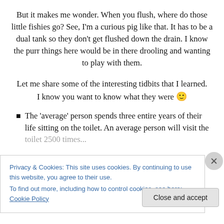But it makes me wonder. When you flush, where do those little fishies go? See, I'm a curious pig like that. It has to be a dual tank so they don't get flushed down the drain. I know the purr things here would be in there drooling and wanting to play with them.
Let me share some of the interesting tidbits that I learned. I know you want to know what they were 🙂
The 'average' person spends three entire years of their life sitting on the toilet. An average person will visit the toilet 2500 times...
Privacy & Cookies: This site uses cookies. By continuing to use this website, you agree to their use. To find out more, including how to control cookies, see here: Cookie Policy